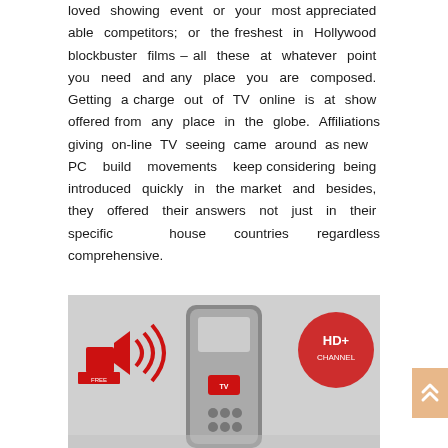loved showing event or your most appreciated able competitors; or the freshest in Hollywood blockbuster films – all these at whatever point you need and any place you are composed. Getting a charge out of TV online is at show offered from any place in the globe. Affiliations giving on-line TV seeing came around as new PC build movements keep considering being introduced quickly in the market and besides, they offered their answers not just in their specific house countries regardless comprehensive.
[Figure (photo): A partial image showing TV/media related icons including what appears to be a remote control, speaker/audio icon with sound waves in red, and HD channel logos, suggesting online TV or streaming content.]